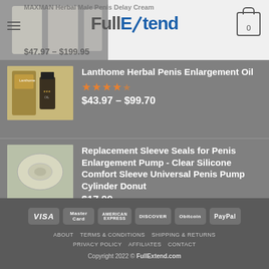[Figure (screenshot): Website header with FullExtend logo, hamburger menu, shopping cart icon, and partial product image in background showing MAXMAN Herbal Male Penis Delay Cream at $47.97 - $199.95]
Lanthome Herbal Penis Enlargement Oil
★★★★½
$43.97 – $99.70
Replacement Sleeve Seals for Penis Enlargement Pump - Clear Silicone Comfort Sleeve Universal Penis Pump Cylinder Donut
$17.99
[Figure (infographic): Payment method icons: VISA, MasterCard, American Express, Discover, Obitcoin, PayPal]
ABOUT  TERMS & CONDITIONS  SHIPPING & RETURNS  PRIVACY POLICY  AFFILIATES  CONTACT
Copyright 2022 © FullExtend.com